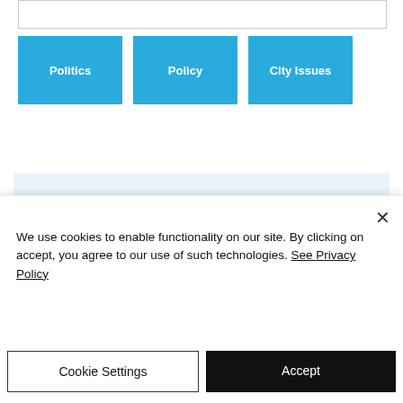[Figure (screenshot): Top input/search bar outline]
Politics
Policy
City Issues
[Figure (photo): Light blue advertisement placeholder banner with a photo of a desk scene (plant, keyboard, coffee cup) and black overlay text 'This is an add']
We use cookies to enable functionality on our site. By clicking on accept, you agree to our use of such technologies. See Privacy Policy
Cookie Settings
Accept